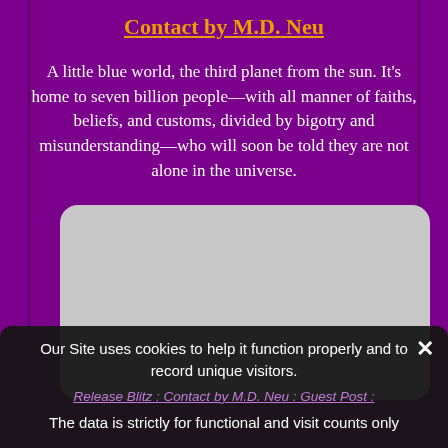Contact by M.D. Neu
A little blue world, the third planet from the sun. It's home to seven billion people—with all manner of faiths, beliefs, and customs, divided by bigotry and misunderstanding—who will soon be told they are not alone in the universe.
[Figure (photo): Gray placeholder image area with rounded corners, likely a book cover image for 'Contact by M.D. Neu']
Our Site uses cookies to help it function properly and to record unique visitors.
Release Blitz : Contact by M.D. Neu : Guest Post :
The data is strictly for functional and visit counts only